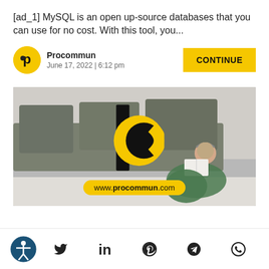[ad_1] MySQL is an open up-source databases that you can use for no cost. With this tool, you...
Procommun
June 17, 2022 | 6:12 pm
[Figure (photo): Woman sitting on floor reading a book with headphones, near a grey sofa. Procommun logo overlaid in center. URL badge 'www.procommun.com' at bottom.]
Accessibility icon, Twitter, LinkedIn, Pinterest, Telegram, WhatsApp social icons